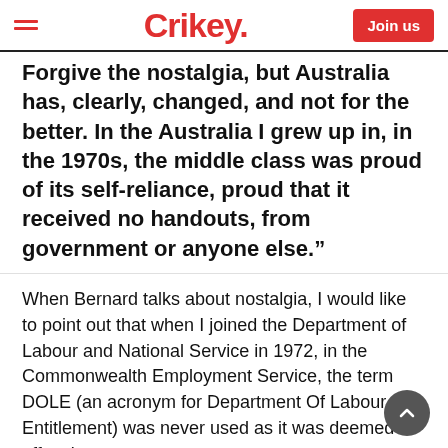Crikey.
Forgive the nostalgia, but Australia has, clearly, changed, and not for the better. In the Australia I grew up in, in the 1970s, the middle class was proud of its self-reliance, proud that it received no handouts, from government or anyone else.”
When Bernard talks about nostalgia, I would like to point out that when I joined the Department of Labour and National Service in 1972, in the Commonwealth Employment Service, the term DOLE (an acronym for Department Of Labour Entitlement) was never used as it was deemed offensive.